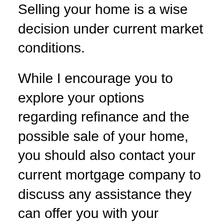Selling your home is a wise decision under current market conditions.
While I encourage you to explore your options regarding refinance and the possible sale of your home, you should also contact your current mortgage company to discuss any assistance they can offer you with your mortgage payments. Many mortgage lenders will assist borrowers, especially those with extreme financial hardships such as yours.
I hope the information provided helps you Find. Learn. Save!
Best,
Bill